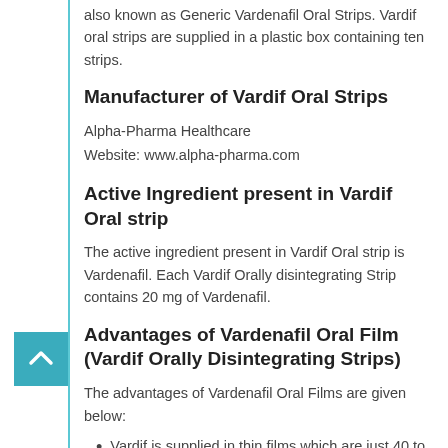also known as Generic Vardenafil Oral Strips. Vardif oral strips are supplied in a plastic box containing ten strips.
Manufacturer of Vardif Oral Strips
Alpha-Pharma Healthcare
Website: www.alpha-pharma.com
Active Ingredient present in Vardif Oral strip
The active ingredient present in Vardif Oral strip is Vardenafil. Each Vardif Orally disintegrating Strip contains 20 mg of Vardenafil.
Advantages of Vardenafil Oral Film (Vardif Orally Disintegrating Strips)
The advantages of Vardenafil Oral Films are given below:
Vardif is supplied in thin films which are just 40 to 140 microns thick.